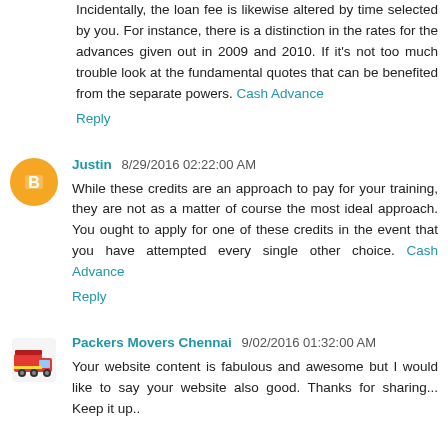Incidentally, the loan fee is likewise altered by time selected by you. For instance, there is a distinction in the rates for the advances given out in 2009 and 2010. If it's not too much trouble look at the fundamental quotes that can be benefited from the separate powers. Cash Advance
Reply
Justin 8/29/2016 02:22:00 AM
While these credits are an approach to pay for your training, they are not as a matter of course the most ideal approach. You ought to apply for one of these credits in the event that you have attempted every single other choice. Cash Advance
Reply
Packers Movers Chennai 9/02/2016 01:32:00 AM
Your website content is fabulous and awesome but I would like to say your website also good. Thanks for sharing... Keep it up..